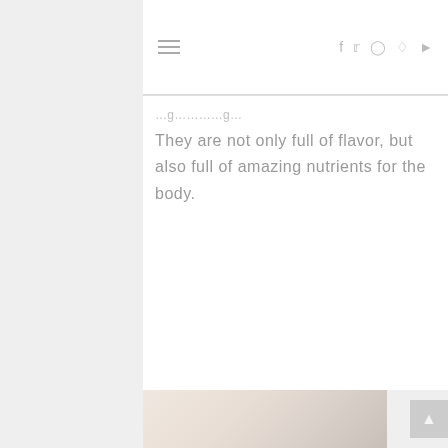≡  f  t  ○  ℗  ▷
They are not only full of flavor, but also full of amazing nutrients for the body.
[Figure (photo): Partial photo visible at the bottom of the page, showing a light-colored food or beverage item with a soft peach/cream background]